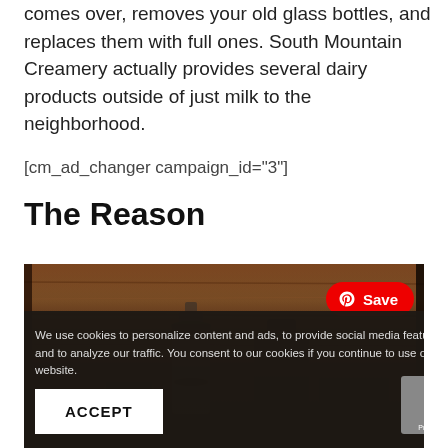comes over, removes your old glass bottles, and replaces them with full ones. South Mountain Creamery actually provides several dairy products outside of just milk to the neighborhood.
[cm_ad_changer campaign_id="3"]
The Reason
[Figure (photo): Photo of glass bottles and coffee items on a wooden background, with a Pinterest Save button overlay and a cookies consent banner with ACCEPT button]
We use cookies to personalize content and ads, to provide social media features and to analyze our traffic. You consent to our cookies if you continue to use our website.